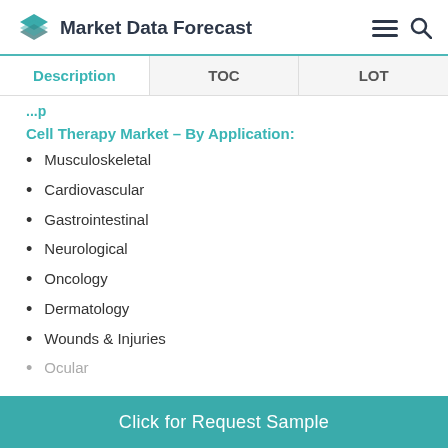Market Data Forecast
Description | TOC | LOT
...p
Cell Therapy Market – By Application:
Musculoskeletal
Cardiovascular
Gastrointestinal
Neurological
Oncology
Dermatology
Wounds & Injuries
Ocular (partial, cut off)
Click for Request Sample